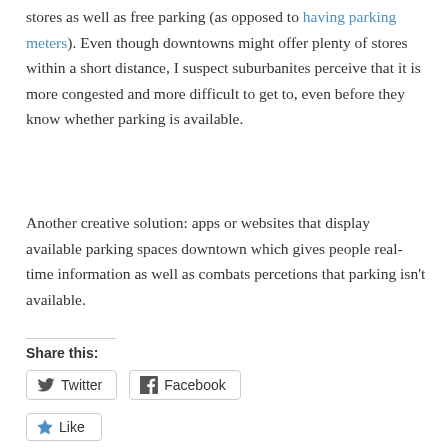stores as well as free parking (as opposed to having parking meters). Even though downtowns might offer plenty of stores within a short distance, I suspect suburbanites perceive that it is more congested and more difficult to get to, even before they know whether parking is available.
Another creative solution: apps or websites that display available parking spaces downtown which gives people real-time information as well as combats perceptions that parking isn't available.
Share this:
[Figure (other): Share buttons: Twitter and Facebook buttons, plus a Like button with star icon]